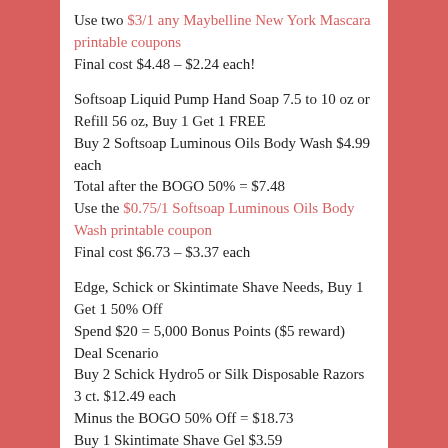Use two $3/1 any Maybelline New York Mascara printable coupons
Final cost $4.48 – $2.24 each!
Softsoap Liquid Pump Hand Soap 7.5 to 10 oz or Refill 56 oz, Buy 1 Get 1 FREE
Buy 2 Softsoap Luminous Oils Body Wash $4.99 each
Total after the BOGO 50% = $7.48
Use the $0.75/1 Softsoap Luminous Oils Body Wash printable coupon
Final cost $6.73 – $3.37 each
Edge, Schick or Skintimate Shave Needs, Buy 1 Get 1 50% Off
Spend $20 = 5,000 Bonus Points ($5 reward)
Deal Scenario
Buy 2 Schick Hydro5 or Silk Disposable Razors 3 ct. $12.49 each
Minus the BOGO 50% Off = $18.73
Buy 1 Skintimate Shave Gel $3.59
Total for all = $22.32
Use the $7/2 Schick Hydro5 or Silk 3 ct. or Xtreme3.8